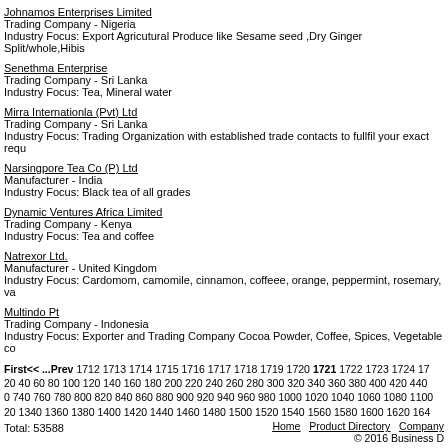Johnamos Enterprises Limited
Trading Company - Nigeria
Industry Focus: Export Agricutural Produce like Sesame seed ,Dry Ginger Split/whole,Hibis...
Senethma Enterprise
Trading Company - Sri Lanka
Industry Focus: Tea, Mineral water
Mirra Internationla (Pvt) Ltd
Trading Company - Sri Lanka
Industry Focus: Trading Organization with established trade contacts to fullfil your exact requ...
Narsingpore Tea Co (P) Ltd
Manufacturer - India
Industry Focus: Black tea of all grades
Dynamic Ventures Africa Limited
Trading Company - Kenya
Industry Focus: Tea and coffee
Natrexor Ltd.
Manufacturer - United Kingdom
Industry Focus: Cardomom, camomile, cinnamon, coffeee, orange, peppermint, rosemary, va...
Multindo Pt
Trading Company - Indonesia
Industry Focus: Exporter and Trading Company Cocoa Powder, Coffee, Spices, Vegetable co...
First<< ...Prev 1712 1713 1714 1715 1716 1717 1718 1719 1720 1721 1722 1723 1724 17...
20 40 60 80 100 120 140 160 180 200 220 240 260 280 300 320 340 360 380 400 420 440 ...
0 740 760 780 800 820 840 860 880 900 920 940 960 980 1000 1020 1040 1060 1080 1100...
20 1340 1360 1380 1400 1420 1440 1460 1480 1500 1520 1540 1560 1580 1600 1620 1640...
Total: 53588
Home   Product Directory   Company...
© 2016 Business D...